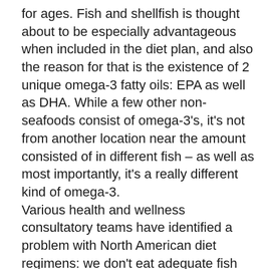for ages. Fish and shellfish is thought about to be especially advantageous when included in the diet plan, and also the reason for that is the existence of 2 unique omega-3 fatty oils: EPA as well as DHA. While a few other non-seafoods consist of omega-3's, it's not from another location near the amount consisted of in different fish – as well as most importantly, it's a really different kind of omega-3. Various health and wellness consultatory teams have identified a problem with North American diet regimens: we don't eat adequate fish nowadays. The typical American eats approximately one fish dish per week.1 I usually consume no fish meals weekly!